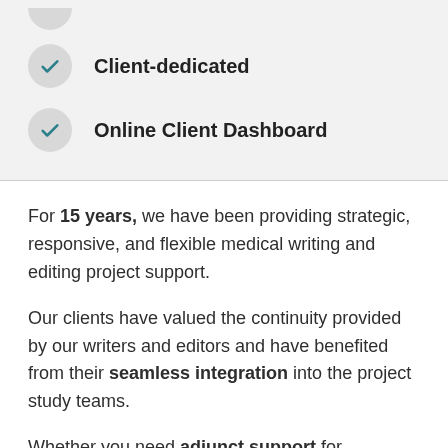Client-dedicated
Online Client Dashboard
For 15 years, we have been providing strategic, responsive, and flexible medical writing and editing project support.
Our clients have valued the continuity provided by our writers and editors and have benefited from their seamless integration into the project study teams.
Whether you need adjunct support for individual medical writing deliverables or to outsource all medical writing across an entire